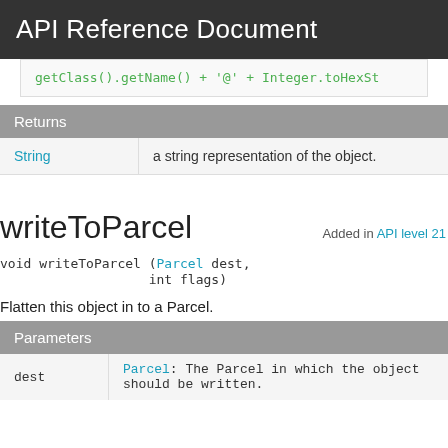API Reference Document
getClass().getName() + '@' + Integer.toHexSt
Returns
| String | a string representation of the object. |
writeToParcel
Added in API level 21
void writeToParcel (Parcel dest,
                   int flags)
Flatten this object in to a Parcel.
Parameters
| dest | Parcel: The Parcel in which the object should be written. |